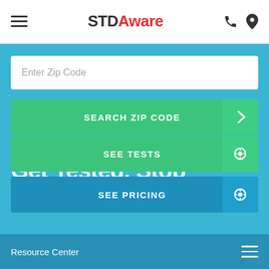STDAware navigation bar with hamburger menu, logo, phone and location icons
Enter Zip Code
SEARCH ZIP CODE →
Get Tested. Stop Worrying.
SEE TESTS
SEE PRICING
Resource Center